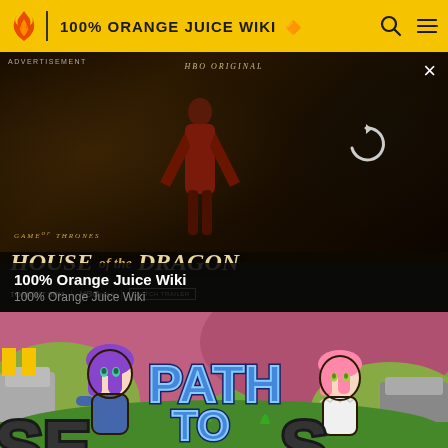100% ORANGE JUICE WIKI
[Figure (screenshot): Advertisement for HBO Original series Game of Thrones: House of the Dragon. Shows dark fantasy scene with text 'TONIGHT 9PM | HBO max | WATCH TRAILER'. Advertisement label and close button (X) visible. Reload icon on right side.]
100% Orange Juice Wiki
100% Orange Juice Wiki
[Figure (illustration): 100% Orange Juice game artwork showing anime-style characters with purple hair and pink hair, with large text reading 'PATH TO' in blue bubbly letters, and partially visible graffiti-style letters at the bottom.]